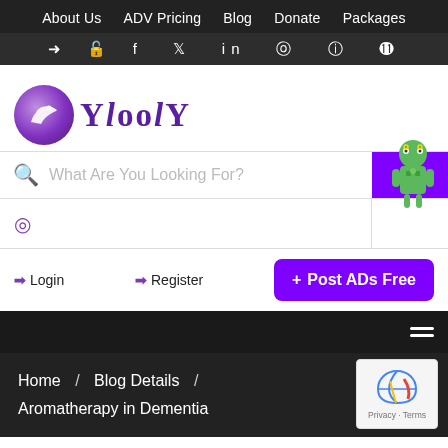About Us  ADV Pricing  Blog  Donate  Packages
→ 🔓 f  𝕏  in  𝓟  🎥  reddit
[Figure (logo): YloolY logo with purple circle containing a bird icon, followed by stylized text 'YloolY']
What Are You Looking For?
[Figure (illustration): Android robot mascot on purple background]
Login  Register  + Post ADs Free
Home / Blog Details / Aromatherapy in Dementia